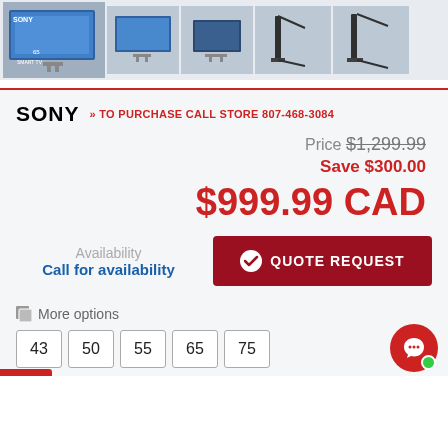[Figure (photo): Sony TV product image strip showing 5 thumbnail views of a Sony 65-inch smart TV from different angles]
SONY >> TO PURCHASE CALL STORE 807-468-3084
Price $1,299.99
Save $300.00
$999.99 CAD
Availability
Call for availability
QUOTE REQUEST
More options
43  50  55  65  75